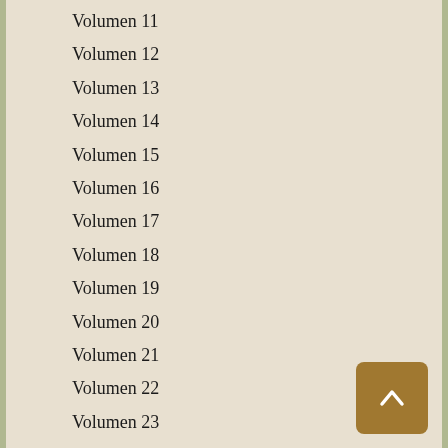Volumen 11
Volumen 12
Volumen 13
Volumen 14
Volumen 15
Volumen 16
Volumen 17
Volumen 18
Volumen 19
Volumen 20
Volumen 21
Volumen 22
Volumen 23
Volumen 24
Volumen 25